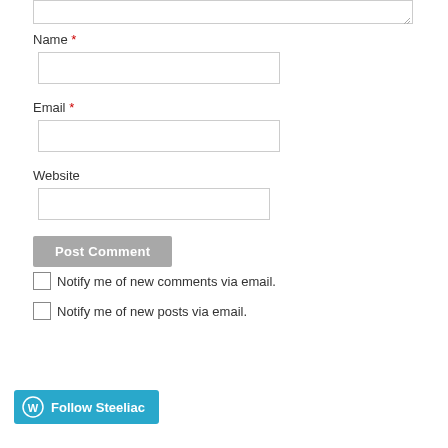[Figure (screenshot): Textarea input box (top portion visible) with resize handle in bottom-right corner]
Name *
[Figure (screenshot): Name text input field (empty)]
Email *
[Figure (screenshot): Email text input field (empty)]
Website
[Figure (screenshot): Website text input field (empty)]
[Figure (screenshot): Post Comment button (gray)]
Notify me of new comments via email.
Notify me of new posts via email.
[Figure (screenshot): Follow Steeliac button with WordPress icon]